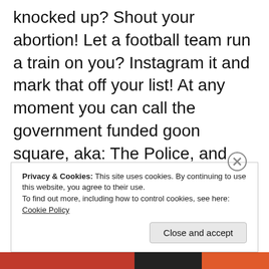knocked up? Shout your abortion! Let a football team run a train on you? Instagram it and mark that off your list! At any moment you can call the government funded goon square, aka: The Police, and have any man arrested if you just say those magick words: He. Raped. Me. Even if its a lie you're likely to get off the hook with little more than a warning, and if any judge tries to come down hard on you then you just need to switch on the waterworks and talk about your daddy issues and how you were on your period and of course the
Privacy & Cookies: This site uses cookies. By continuing to use this website, you agree to their use.
To find out more, including how to control cookies, see here: Cookie Policy
Close and accept